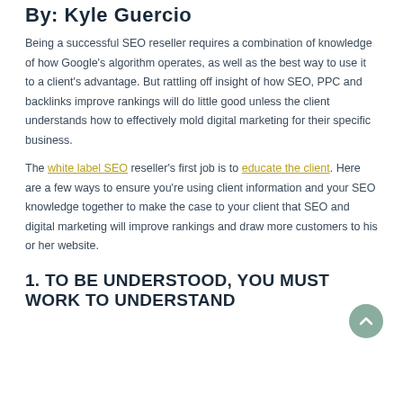By: Kyle Guercio
Being a successful SEO reseller requires a combination of knowledge of how Google's algorithm operates, as well as the best way to use it to a client's advantage. But rattling off insight of how SEO, PPC and backlinks improve rankings will do little good unless the client understands how to effectively mold digital marketing for their specific business.
The white label SEO reseller's first job is to educate the client. Here are a few ways to ensure you're using client information and your SEO knowledge together to make the case to your client that SEO and digital marketing will improve rankings and draw more customers to his or her website.
1. TO BE UNDERSTOOD, YOU MUST WORK TO UNDERSTAND